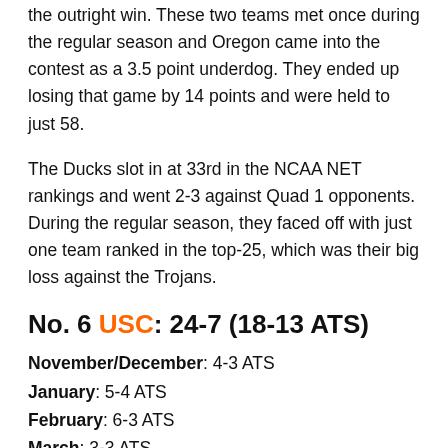the outright win. These two teams met once during the regular season and Oregon came into the contest as a 3.5 point underdog. They ended up losing that game by 14 points and were held to just 58.
The Ducks slot in at 33rd in the NCAA NET rankings and went 2-3 against Quad 1 opponents. During the regular season, they faced off with just one team ranked in the top-25, which was their big loss against the Trojans.
No. 6 USC: 24-7 (18-13 ATS)
November/December: 4-3 ATS
January: 5-4 ATS
February: 6-3 ATS
March: 3-3 ATS